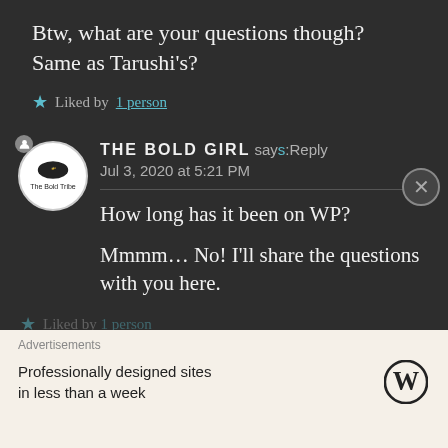Btw, what are your questions though? Same as Tarushi's?
★ Liked by 1 person
THE BOLD GIRL says: Reply
Jul 3, 2020 at 5:21 PM
How long has it been on WP?

Mmmm… No! I'll share the questions with you here.
★ Liked by...
Advertisements
Professionally designed sites in less than a week